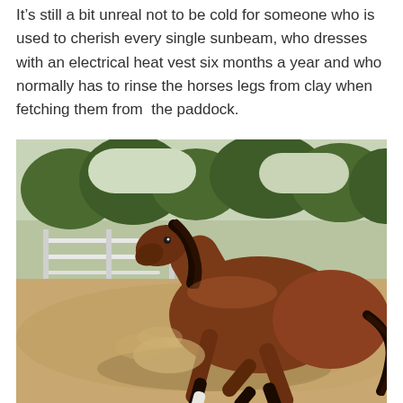It's still a bit unreal not to be cold for someone who is used to cherish every single sunbeam, who dresses with an electrical heat vest six months a year and who normally has to rinse the horses legs from clay when fetching them from  the paddock.
[Figure (photo): A bay horse rolling or getting up from sandy ground in a paddock, with trees and a white fence visible in the background. Dust is visible around the horse.]